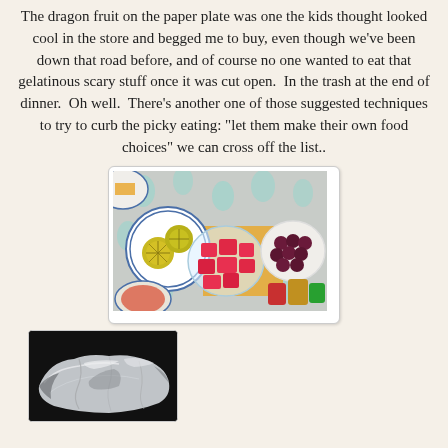The dragon fruit on the paper plate was one the kids thought looked cool in the store and begged me to buy, even though we've been down that road before, and of course no one wanted to eat that gelatinous scary stuff once it was cut open.  In the trash at the end of dinner.  Oh well.  There's another one of those suggested techniques to try to curb the picky eating: "let them make their own food choices" we can cross off the list..
[Figure (photo): Overhead view of a table with a floral tablecloth showing several bowls of fruit: sliced citrus on a blue and white plate, cubed watermelon in a clear bowl, and dark grapes in a white bowl, along with small sauce containers.]
[Figure (photo): Dark background photo of a crumpled foil-wrapped food item, possibly a baked potato or grilled item wrapped in aluminum foil.]